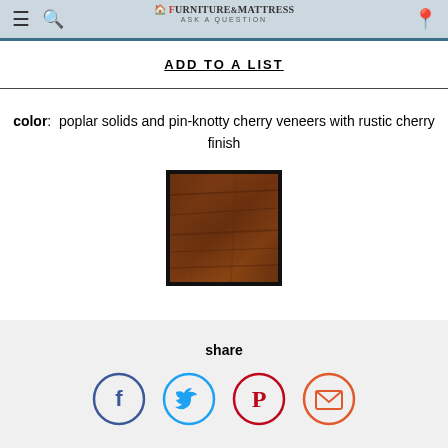Furniture & Mattress - ASK A QUESTION
ADD TO A LIST
color: poplar solids and pin-knotty cherry veneers with rustic cherry finish
[Figure (photo): Color swatch showing rustic cherry wood finish — a dark reddish-brown wood grain texture in a square frame with black border]
share
[Figure (infographic): Four social sharing icon buttons: Facebook (blue circle with f), Twitter (light blue circle with bird), Pinterest (red circle with P), Email (red-orange circle with envelope)]